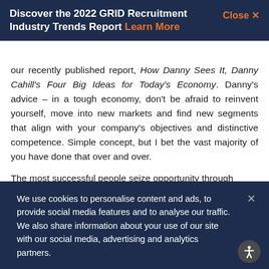Discover the 2022 GRID Recruitment Industry Trends Report Learn More  Close X
our recently published report, How Danny Sees It, Danny Cahill's Four Big Ideas for Today's Economy. Danny's advice – in a tough economy, don't be afraid to reinvent yourself, move into new markets and find new segments that align with your company's objectives and distinctive competence. Simple concept, but I bet the vast majority of you have done that over and over.
The most successful people seize opportunity through
We use cookies to personalise content and ads, to provide social media features and to analyse our traffic. We also share information about your use of our site with our social media, advertising and analytics partners.